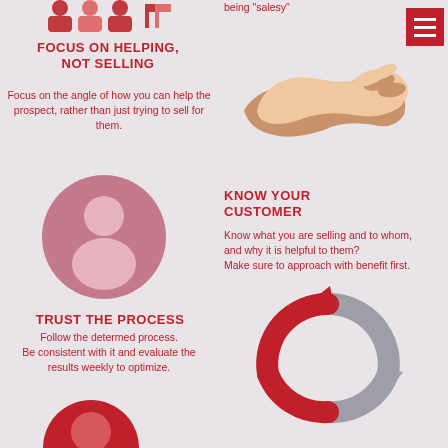[Figure (illustration): Partial view of people illustration at top of left column]
FOCUS ON HELPING, NOT SELLING
Focus on the angle of how you can help the prospect, rather than just trying to sell for them.
[Figure (illustration): Pink circle with person/user silhouette icon]
TRUST THE PROCESS
Follow the determed process. Be consistent with it and evaluate the results weekly to optimize.
[Figure (illustration): Partial red/circle illustration at bottom of left column]
being "salesy"
[Figure (illustration): Handshake illustration with hands of different skin tones, red menu icon in top right]
KNOW YOUR CUSTOMER
Know what you are selling and to whom, and why it is helpful to them? Make sure to approach with benefit first.
[Figure (illustration): Circular arrow cycle diagram in grey and red]